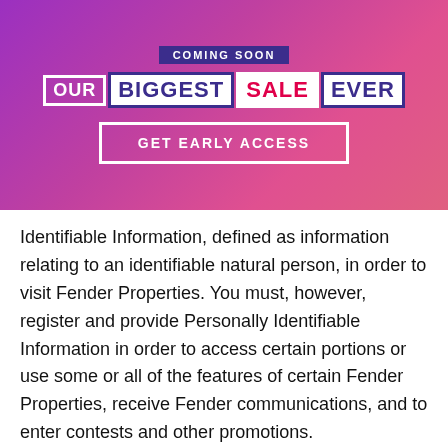[Figure (infographic): Promotional banner with purple-pink gradient background. Shows 'COMING SOON' in dark purple box, then 'OUR BIGGEST SALE EVER' in styled word boxes, then 'GET EARLY ACCESS' call-to-action button outlined in white.]
Identifiable Information, defined as information relating to an identifiable natural person, in order to visit Fender Properties. You must, however, register and provide Personally Identifiable Information in order to access certain portions or use some or all of the features of certain Fender Properties, receive Fender communications, and to enter contests and other promotions.
Fender may use content you provide us through emails, responses to polls,